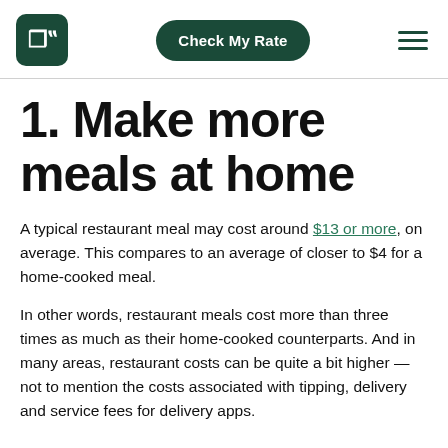Check My Rate
1. Make more meals at home
A typical restaurant meal may cost around $13 or more, on average. This compares to an average of closer to $4 for a home-cooked meal.
In other words, restaurant meals cost more than three times as much as their home-cooked counterparts. And in many areas, restaurant costs can be quite a bit higher — not to mention the costs associated with tipping, delivery and service fees for delivery apps.